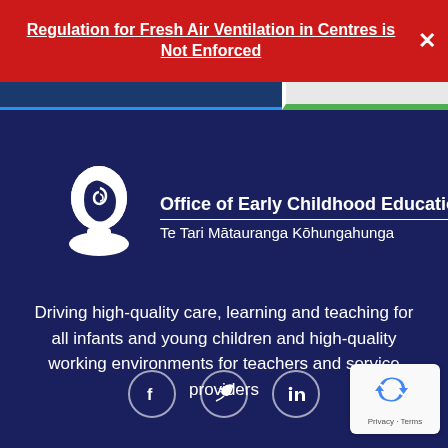Regulation for Fresh Air Ventilation in Centres is Not Enforced
[Figure (logo): Office of Early Childhood Education / Te Tari Mātauranga Kōhungahunga logo with white silhouette of child's head on dark navy background]
Driving high-quality care, learning and teaching for all infants and young children and high-quality working environments for teachers and service providers
[Figure (infographic): Social media icons: Facebook, Twitter, LinkedIn in circular outlines]